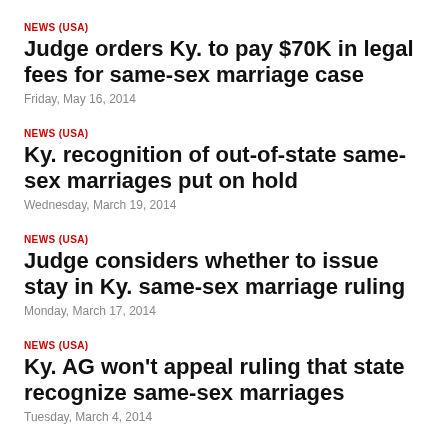NEWS (USA)
Judge orders Ky. to pay $70K in legal fees for same-sex marriage case
Friday, May 16, 2014
NEWS (USA)
Ky. recognition of out-of-state same-sex marriages put on hold
Wednesday, March 19, 2014
NEWS (USA)
Judge considers whether to issue stay in Ky. same-sex marriage ruling
Monday, March 17, 2014
NEWS (USA)
Ky. AG won't appeal ruling that state recognize same-sex marriages
Tuesday, March 4, 2014